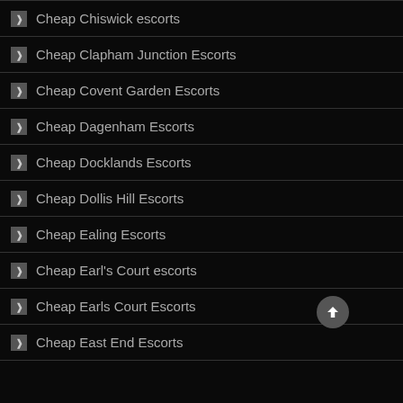Cheap Chiswick escorts
Cheap Clapham Junction Escorts
Cheap Covent Garden Escorts
Cheap Dagenham Escorts
Cheap Docklands Escorts
Cheap Dollis Hill Escorts
Cheap Ealing Escorts
Cheap Earl's Court escorts
Cheap Earls Court Escorts
Cheap East End Escorts